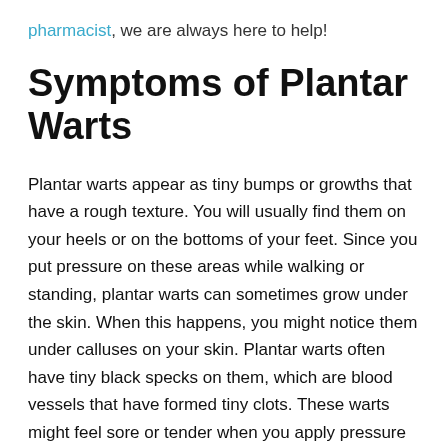pharmacist, we are always here to help!
Symptoms of Plantar Warts
Plantar warts appear as tiny bumps or growths that have a rough texture. You will usually find them on your heels or on the bottoms of your feet. Since you put pressure on these areas while walking or standing, plantar warts can sometimes grow under the skin. When this happens, you might notice them under calluses on your skin. Plantar warts often have tiny black specks on them, which are blood vessels that have formed tiny clots. These warts might feel sore or tender when you apply pressure to them.